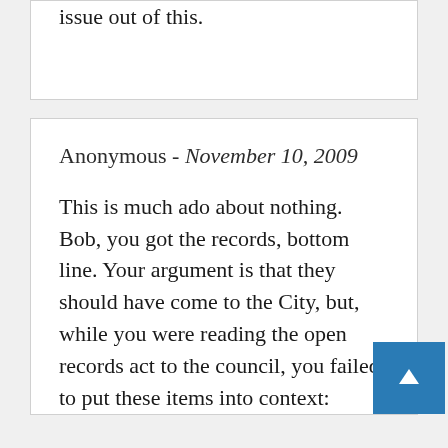issue out of this.
Anonymous - November 10, 2009
This is much ado about nothing. Bob, you got the records, bottom line. Your argument is that they should have come to the City, but, while you were reading the open records act to the council, you failed to put these items into context: